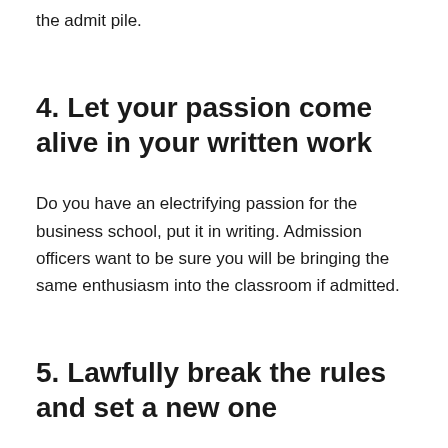the admit pile.
4. Let your passion come alive in your written work
Do you have an electrifying passion for the business school, put it in writing. Admission officers want to be sure you will be bringing the same enthusiasm into the classroom if admitted.
5. Lawfully break the rules and set a new one
Those who bring true change are always the ones who broke the rules. If there are some preconceived perceptions about your race, country or previous school, prove to the